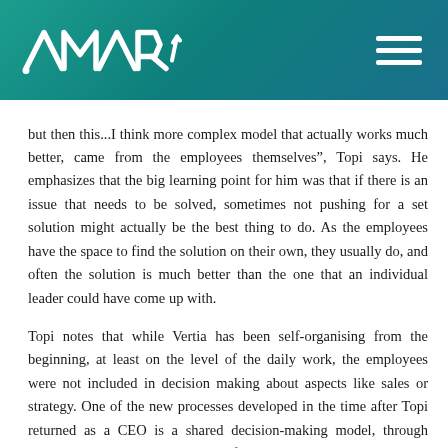AMARA
but then this...I think more complex model that actually works much better, came from the employees themselves”, Topi says. He emphasizes that the big learning point for him was that if there is an issue that needs to be solved, sometimes not pushing for a set solution might actually be the best thing to do. As the employees have the space to find the solution on their own, they usually do, and often the solution is much better than the one that an individual leader could have come up with.
Topi notes that while Vertia has been self-organising from the beginning, at least on the level of the daily work, the employees were not included in decision making about aspects like sales or strategy. One of the new processes developed in the time after Topi returned as a CEO is a shared decision-making model, through which anyone can make decisions, for